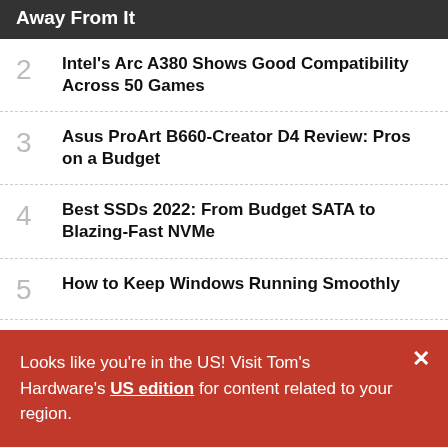Away From It
2  Intel's Arc A380 Shows Good Compatibility Across 50 Games
3  Asus ProArt B660-Creator D4 Review: Pros on a Budget
4  Best SSDs 2022: From Budget SATA to Blazing-Fast NVMe
5  How to Keep Windows Running Smoothly
Looks like you're in the US! Visit Tom's Hardware's US edition for content related to your region.